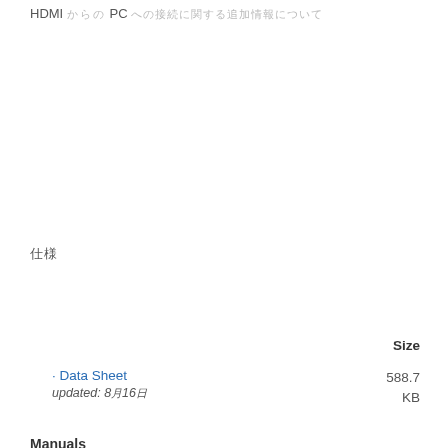HDMI からの PC への接続に関する追加情報
仕様
Size
Data Sheet
updated: 8月16日
588.7 KB
Manuals
Support Guide – IO Board and Endpoint Compatibility
updated: 2月02日
46.4 KB
Hardware Reference Manual - DXLink Fiber Transmitters/Receivers
updated: 1月21日
3.9 MB